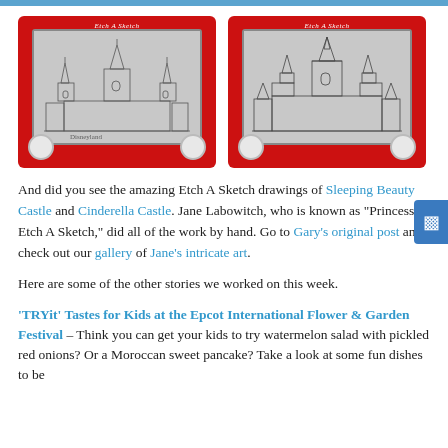[Figure (photo): Two Etch A Sketch drawings side by side showing Sleeping Beauty Castle and Cinderella Castle on red Etch A Sketch boards]
And did you see the amazing Etch A Sketch drawings of Sleeping Beauty Castle and Cinderella Castle. Jane Labowitch, who is known as “Princess Etch A Sketch,” did all of the work by hand. Go to Gary’s original post and check out our gallery of Jane’s intricate art.
Here are some of the other stories we worked on this week.
‘TRYit’ Tastes for Kids at the Epcot International Flower & Garden Festival – Think you can get your kids to try watermelon salad with pickled red onions? Or a Moroccan sweet pancake? Take a look at some fun dishes to be